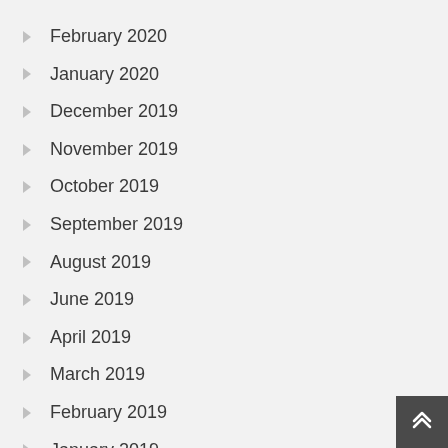February 2020
January 2020
December 2019
November 2019
October 2019
September 2019
August 2019
June 2019
April 2019
March 2019
February 2019
January 2019